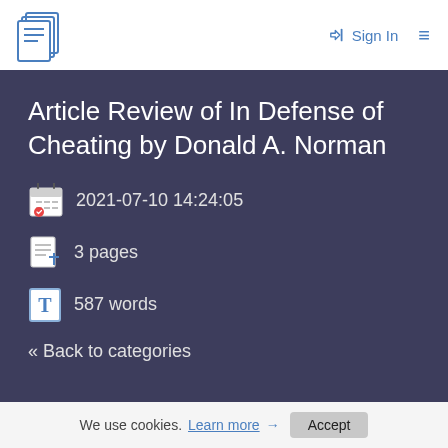Sign In
Article Review of In Defense of Cheating by Donald A. Norman
2021-07-10 14:24:05
3 pages
587 words
« Back to categories
We use cookies. Learn more → Accept